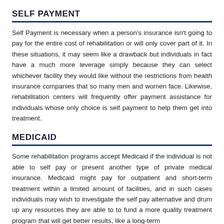SELF PAYMENT
Self Payment is necessary when a person’s insurance isn’t going to pay for the entire cost of rehabilitation or will only cover part of it. In these situations, it may seem like a drawback but individuals in fact have a much more leverage simply because they can select whichever facility they would like without the restrictions from health insurance companies that so many men and women face. Likewise, rehabilitation centers will frequently offer payment assistance for individuals whose only choice is self payment to help them get into treatment.
MEDICAID
Some rehabilitation programs accept Medicaid if the individual is not able to self pay or present another type of private medical insurance. Medicaid might pay for outpatient and short-term treatment within a limited amount of facilities, and in such cases individuals may wish to investigate the self pay alternative and drum up any resources they are able to to fund a more quality treatment program that will get better results, like a long-term